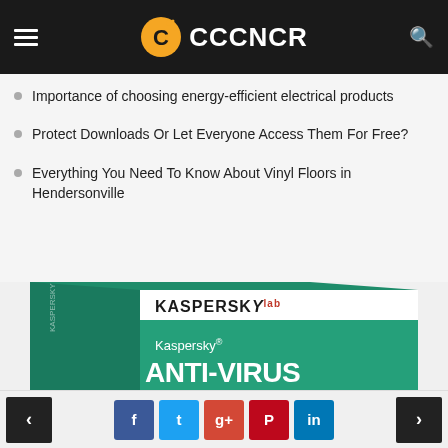CCCNCR
Importance of choosing energy-efficient electrical products
Protect Downloads Or Let Everyone Access Them For Free?
Everything You Need To Know About Vinyl Floors in Hendersonville
[Figure (photo): Kaspersky Anti-Virus software box product image. Green box with KASPERSKY lab logo and Kaspersky ANTI-VIRUS text.]